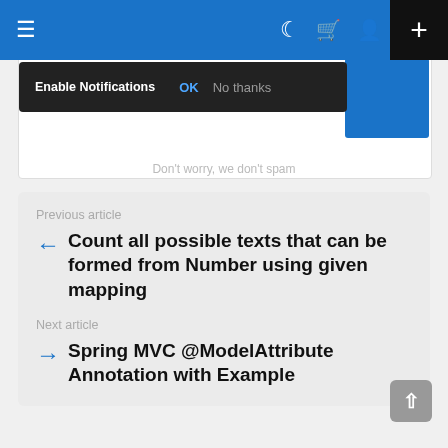[Figure (screenshot): Blue navigation bar with hamburger menu on left, and icons (moon, cart, user) plus black plus button on right]
[Figure (screenshot): Dark notification bar with 'Enable Notifications', 'OK', 'No thanks' options and blue button on right]
Don't worry, we don't spam
Previous article
Count all possible texts that can be formed from Number using given mapping
Next article
Spring MVC @ModelAttribute Annotation with Example